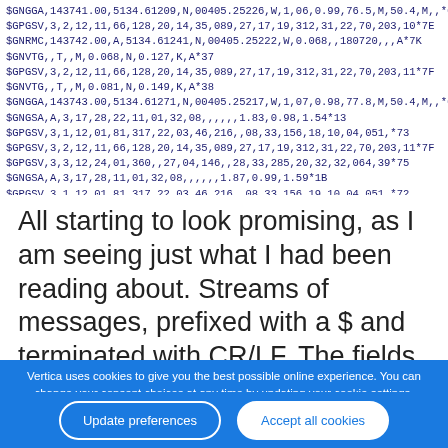$GNGGA,143741.00,5134.61209,N,00405.25226,W,1,06,0.99,76.5,M,50.4,M,,*6B
$GPGSV,3,2,12,11,66,128,20,14,35,089,27,17,19,312,31,22,70,203,10*7E
$GNRMC,143742.00,A,5134.61241,N,00405.25222,W,0.068,,180720,,,A*7K
$GNVTG,,T,,M,0.068,N,0.127,K,A*37
$GPGSV,3,2,12,11,66,128,20,14,35,089,27,17,19,312,31,22,70,203,11*7F
$GNVTG,,T,,M,0.081,N,0.149,K,A*38
$GNGGA,143743.00,5134.61271,N,00405.25217,W,1,07,0.98,77.8,M,50.4,M,,*6B
$GNGSA,A,3,17,28,22,11,01,32,08,,,,,,1.83,0.98,1.54*13
$GPGSV,3,1,12,01,81,317,22,03,46,216,,08,33,156,18,10,04,051,*73
$GPGSV,3,2,12,11,66,128,20,14,35,089,27,17,19,312,31,22,70,203,11*7F
$GPGSV,3,3,12,24,01,360,,27,04,146,,28,33,285,20,32,32,064,39*75
$GNGSA,A,3,17,28,11,01,32,08,,,,,,1.87,0.99,1.59*1B
$GPGSV,3,1,12,01,81,317,22,03,46,216,,08,33,156,19,10,04,051,*72
$GPGSV,3,2,12,11,66,128,21,14,35,089,26,17,19,312,32,22,70,203,10*7D
$GPGSV,3,3,12,24,01,360,,27,04,146,,28,33,285,19,32,32,064,39*7F
All starting to look promising, as I am seeing just what I had been reading about. Streams of messages, prefixed with a $ and terminated with CR/LF. The fields
Vertica uses cookies to give you the best possible online experience. You can change your consent choices at any time by updating your cookie settings.
Update preferences
Accept all cookies